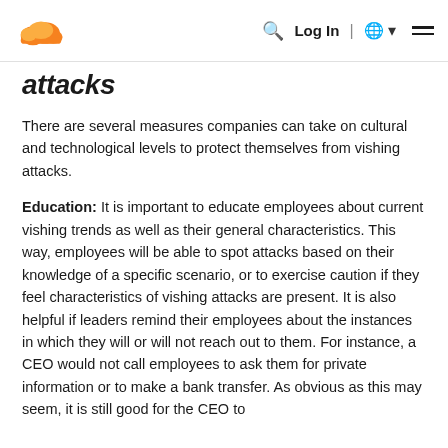Cloudflare logo | Search | Log In | Globe | Menu
attacks
There are several measures companies can take on cultural and technological levels to protect themselves from vishing attacks.
Education: It is important to educate employees about current vishing trends as well as their general characteristics. This way, employees will be able to spot attacks based on their knowledge of a specific scenario, or to exercise caution if they feel characteristics of vishing attacks are present. It is also helpful if leaders remind their employees about the instances in which they will or will not reach out to them. For instance, a CEO would not call employees to ask them for private information or to make a bank transfer. As obvious as this may seem, it is still good for the CEO to